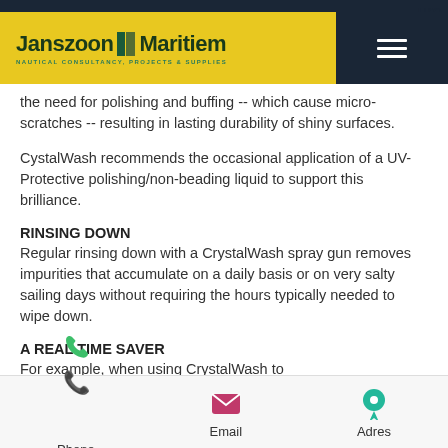[Figure (logo): Janszoon Maritiem logo in yellow banner with dark navy hamburger menu on right]
the need for polishing and buffing -- which cause micro-scratches -- resulting in lasting durability of shiny surfaces.
CystalWash recommends the occasional application of a UV-Protective polishing/non-beading liquid to support this brilliance.
RINSING DOWN
Regular rinsing down with a CrystalWash spray gun removes impurities that accumulate on a daily basis or on very salty sailing days without requiring the hours typically needed to wipe down.
A REAL TIME SAVER
For example, when using CrystalWash to
Phone   Email   Adres